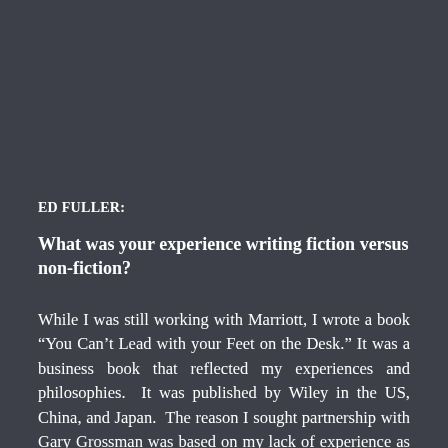ED FULLER:
What was your experience writing fiction versus non-fiction?
While I was still working with Marriott, I wrote a book “You Can’t Lead with your Feet on the Desk.” It was a business book that reflected my experiences and philosophies. It was published by Wiley in the US, China, and Japan. The reason I sought partnership with Gary Grossman was based on my lack of experience as a fiction writer.